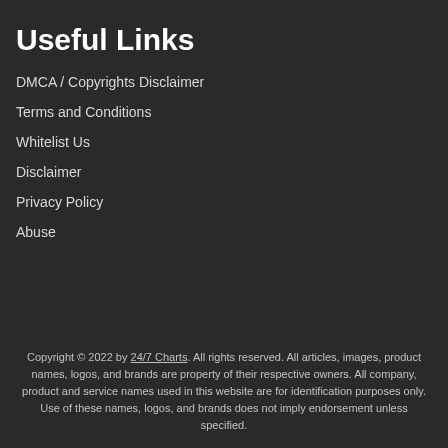Useful Links
DMCA / Copyrights Disclaimer
Terms and Conditions
Whitelist Us
Disclaimer
Privacy Policy
Abuse
Copyright © 2022 by 24/7 Charts. All rights reserved. All articles, images, product names, logos, and brands are property of their respective owners. All company, product and service names used in this website are for identification purposes only. Use of these names, logos, and brands does not imply endorsement unless specified.